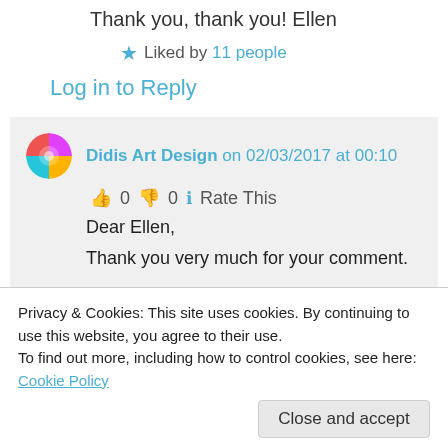Thank you, thank you! Ellen
★ Liked by 11 people
Log in to Reply
Didis Art Design on 02/03/2017 at 00:10
👍 0 👎 0 ℹ Rate This
Dear Ellen,
Thank you very much for your comment.
Privacy & Cookies: This site uses cookies. By continuing to use this website, you agree to their use.
To find out more, including how to control cookies, see here: Cookie Policy
Close and accept
He gives a first-hand experience to His